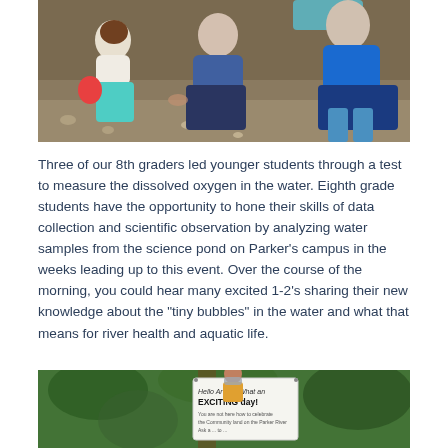[Figure (photo): Children and adults crouching on a rocky/dirt riverbank, doing a water testing activity outdoors. One child wears a teal skirt, another has an orange/red bag. Adults in patterned shirts and boots are guiding the activity.]
Three of our 8th graders led younger students through a test to measure the dissolved oxygen in the water. Eighth grade students have the opportunity to hone their skills of data collection and scientific observation by analyzing water samples from the science pond on Parker’s campus in the weeks leading up to this event. Over the course of the morning, you could hear many excited 1-2’s sharing their new knowledge about the “tiny bubbles” in the water and what that means for river health and aquatic life.
[Figure (photo): A person standing outdoors under trees holding a whiteboard sign that reads 'Hello Artists, What an EXCITING day!' with additional smaller text below. Lush green foliage in the background.]